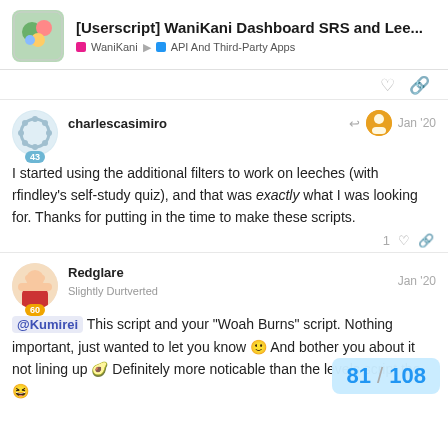[Userscript] WaniKani Dashboard SRS and Lee... — WaniKani — API And Third-Party Apps
charlescasimiro Jan '20
I started using the additional filters to work on leeches (with rfindley's self-study quiz), and that was exactly what I was looking for. Thanks for putting in the time to make these scripts.
1 ♡ 🔗
Redglare Jan '20
Slightly Durtverted
@Kumirei This script and your "Woah Burns" script. Nothing important, just wanted to let you know 🙂 And bother you about it not lining up 🥑 Definitely more noticable than the levels script tho 😆
81 / 108